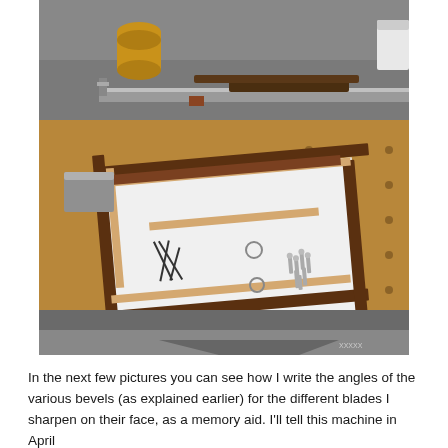[Figure (photo): Workshop photo showing a wooden frame assembly laid out on a workbench with holes. The frame contains a white panel/board, wooden strips, screws, metal hardware, and other components. In the background is a workbench with tools including a cylindrical wood piece, clamps, and a container.]
In the next few pictures you can see how I write the angles of the various bevels (as explained earlier) for the different blades I sharpen on their face, as a memory aid. I'll tell this machine in April